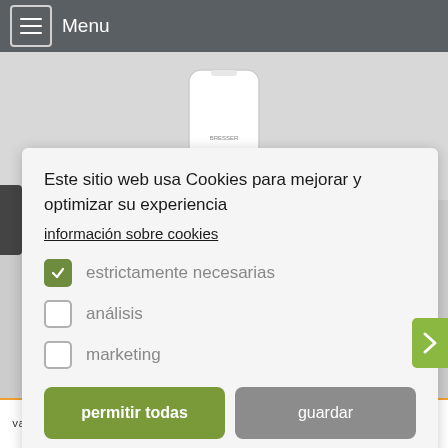≡ Menu
[Figure (photo): White BRESSER device photographed from the front against a light background]
Hz
Este sitio web usa Cookies para mejorar y optimizar su experiencia
información sobre cookies
✓ estrictamente necesarias
análisis
marketing
permitir todas
guardar
valoraciones seleccionadas para www.bresser.de/es/nome/